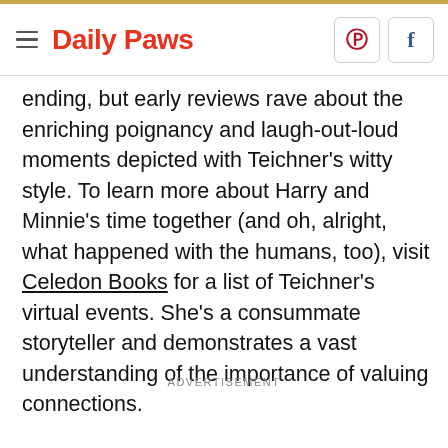Daily Paws
ending, but early reviews rave about the enriching poignancy and laugh-out-loud moments depicted with Teichner's witty style. To learn more about Harry and Minnie's time together (and oh, alright, what happened with the humans, too), visit Celedon Books for a list of Teichner's virtual events. She's a consummate storyteller and demonstrates a vast understanding of the importance of valuing connections.
ADVERTISEMENT